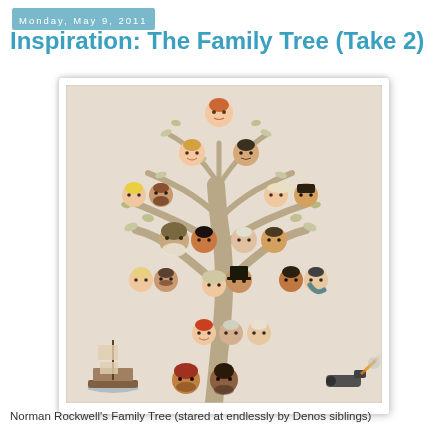Monday, May 9, 2011
Inspiration: The Family Tree (Take 2)
[Figure (illustration): Norman Rockwell's Family Tree painting showing a decorative tree with many diverse ancestor portraits arranged in branches from bottom roots to top, with a ship and other historical elements at the base.]
Norman Rockwell's Family Tree (stared at endlessly by Denos siblings)